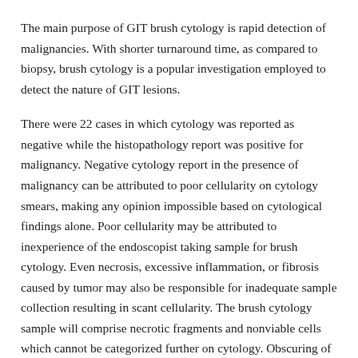The main purpose of GIT brush cytology is rapid detection of malignancies. With shorter turnaround time, as compared to biopsy, brush cytology is a popular investigation employed to detect the nature of GIT lesions.
There were 22 cases in which cytology was reported as negative while the histopathology report was positive for malignancy. Negative cytology report in the presence of malignancy can be attributed to poor cellularity on cytology smears, making any opinion impossible based on cytological findings alone. Poor cellularity may be attributed to inexperience of the endoscopist taking sample for brush cytology. Even necrosis, excessive inflammation, or fibrosis caused by tumor may also be responsible for inadequate sample collection resulting in scant cellularity. The brush cytology sample will comprise necrotic fragments and nonviable cells which cannot be categorized further on cytology. Obscuring of cells by excessive inflammatory infiltrate will also lead to negative cytology report. On the other hand, a false-positive cytology report can be caused by over-interpretation of nuclear hyperchromasia of regenerating epithelium of ulcerated mucosa. Reactive atypia may not always be distinguished from atypia due to malignancy on cytology.[2]